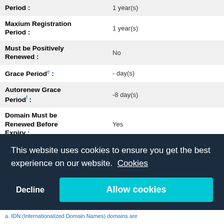| Field | Value |
| --- | --- |
| Period : | 1 year(s) |
| Maxium Registration Period : | 1 year(s) |
| Must be Positively Renewed : | No |
| Grace Period e : | - day(s) |
| Autorenew Grace Period f : | -8 day(s) |
| Domain Must be Renewed Before Expiry : | Yes |
| Transfers are Prohibited for g : | 60 day(s) |
| Redemption Period h : | days |
| Fee for Recovery From Redemption i : | $ |
|  | Entities connected with |
This website uses cookies to ensure you get the best experience on our website. Cookies
Decline | Allow cookies
a. IDN (Internationalized Domain Names) domains are